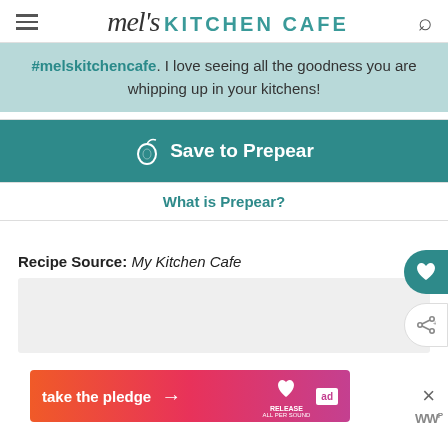mel's KITCHEN CAFE
#melskitchencafe. I love seeing all the goodness you are whipping up in your kitchens!
[Figure (other): Save to Prepear button with pear icon on teal background]
What is Prepear?
Recipe Source: My Kitchen Cafe
[Figure (other): take the pledge advertisement banner with Release and ad icons]